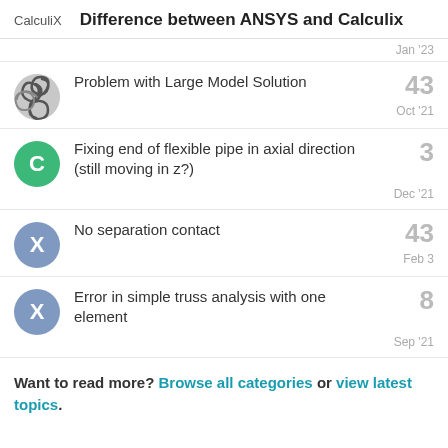CalculiX — Difference between ANSYS and Calculix
Jan '23
Problem with Large Model Solution — 43 — Oct '21
Fixing end of flexible pipe in axial direction (still moving in z?) — 3 — Dec '21
No separation contact — 43 — Feb 3
Error in simple truss analysis with one element — 8 — Sep '21
Want to read more? Browse all categories or view latest topics.